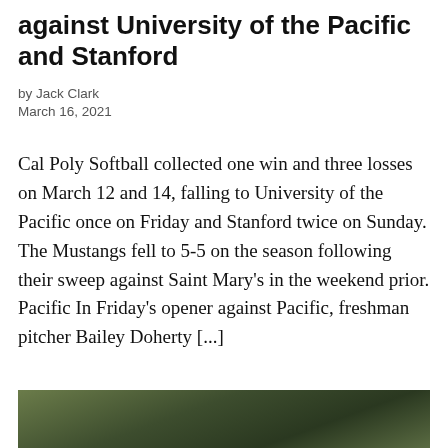against University of the Pacific and Stanford
by Jack Clark
March 16, 2021
Cal Poly Softball collected one win and three losses on March 12 and 14, falling to University of the Pacific once on Friday and Stanford twice on Sunday. The Mustangs fell to 5-5 on the season following their sweep against Saint Mary's in the weekend prior. Pacific In Friday's opener against Pacific, freshman pitcher Bailey Doherty [...]
[Figure (photo): Photo of a softball player holding a yellow softball, outdoors on a field, partial view cropped at bottom of page]